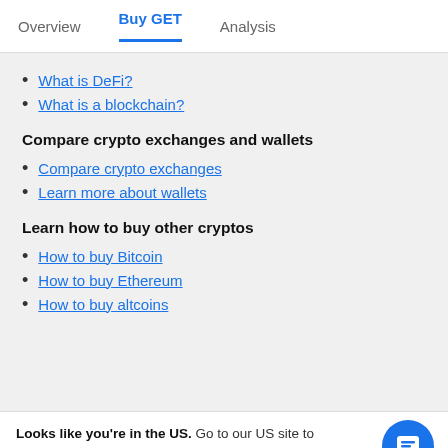Overview | Buy GET | Analysis
What is DeFi?
What is a blockchain?
Compare crypto exchanges and wallets
Compare crypto exchanges
Learn more about wallets
Learn how to buy other cryptos
How to buy Bitcoin
How to buy Ethereum
How to buy altcoins
Looks like you're in the US. Go to our US site to compare relevant products for your country.
Go to Finder US
No, stay on this page